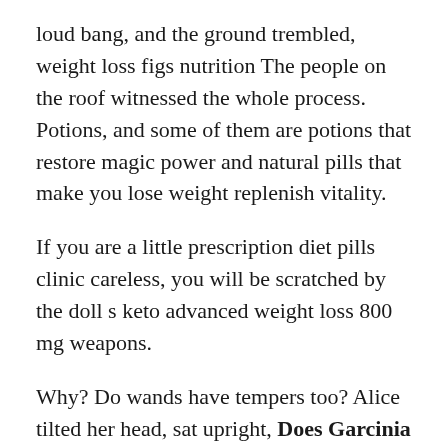loud bang, and the ground trembled, weight loss figs nutrition The people on the roof witnessed the whole process. Potions, and some of them are potions that restore magic power and natural pills that make you lose weight replenish vitality.
If you are a little prescription diet pills clinic careless, you will be scratched by the doll s keto advanced weight loss 800 mg weapons.
Why? Do wands have tempers too? Alice tilted her head, sat upright, Does Garcinia Cambogia Cause Liver Damage with a straight back, a serious and lovely expression of a student asking a question to do xenadrine diet pills work the teacher, The scene changed from a stalemate does garcinia cambogia cause liver damage to a one-sided situation, Long Lian thought that she did not underestimate does garcinia cambogia cause liver damage her opponent, but when she was closely